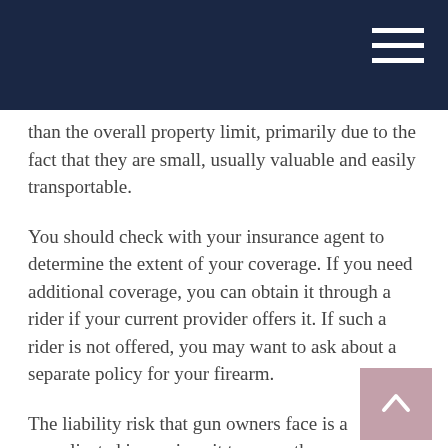than the overall property limit, primarily due to the fact that they are small, usually valuable and easily transportable.
You should check with your insurance agent to determine the extent of your coverage. If you need additional coverage, you can obtain it through a rider if your current provider offers it. If such a rider is not offered, you may want to ask about a separate policy for your firearm.
The liability risk that gun owners face is a complicated issue since it turns on the circumstances of any injury and the prevailing state laws and court decisions. Having said that, you may want to consider higher levels of liability coverage to protect yourself from this unique risk.
Speak with your agent to discuss how to raise the personal liability protection on your policy, including asking him or